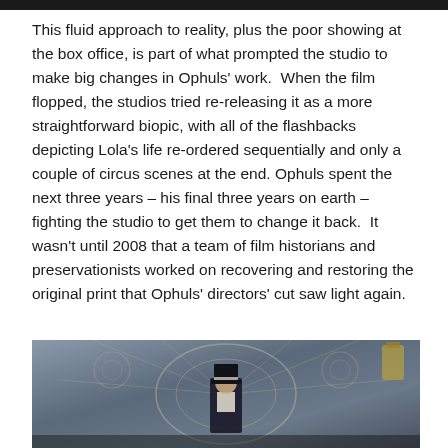This fluid approach to reality, plus the poor showing at the box office, is part of what prompted the studio to make big changes in Ophuls' work.  When the film flopped, the studios tried re-releasing it as a more straightforward biopic, with all of the flashbacks depicting Lola's life re-ordered sequentially and only a couple of circus scenes at the end. Ophuls spent the next three years – his final three years on earth – fighting the studio to get them to change it back.  It wasn't until 2008 that a team of film historians and preservationists worked on recovering and restoring the original print that Ophuls' directors' cut saw light again.
[Figure (photo): A photo from a film showing a figure in a top hat against an ornate, decorative backdrop with intricate patterns, likely from the film Lola Montès.]